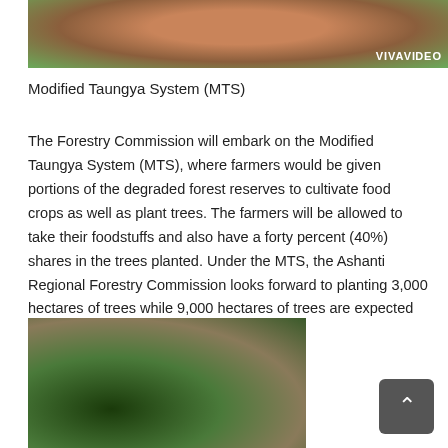[Figure (photo): Partial photo at top showing person in forest/nature scene with VIVAVIDEO watermark]
Modified Taungya System (MTS)
The Forestry Commission will embark on the Modified Taungya System (MTS), where farmers would be given portions of the degraded forest reserves to cultivate food crops as well as plant trees. The farmers will be allowed to take their foodstuffs and also have a forty percent (40%) shares in the trees planted. Under the MTS, the Ashanti Regional Forestry Commission looks forward to planting 3,000 hectares of trees while 9,000 hectares of trees are expected to be cultivated nationwide.
[Figure (photo): Group of people in military/forestry uniforms gathered around young tree seedlings in forest setting]